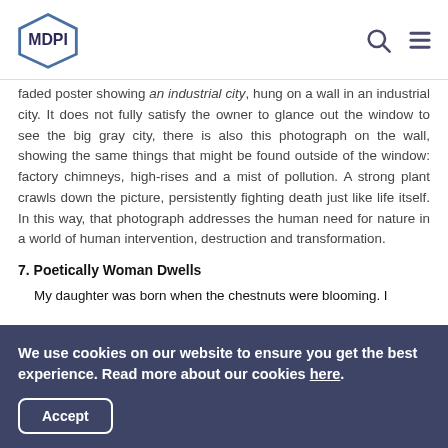MDPI
faded poster showing an industrial city, hung on a wall in an industrial city. It does not fully satisfy the owner to glance out the window to see the big gray city, there is also this photograph on the wall, showing the same things that might be found outside of the window: factory chimneys, high-rises and a mist of pollution. A strong plant crawls down the picture, persistently fighting death just like life itself. In this way, that photograph addresses the human need for nature in a world of human intervention, destruction and transformation.
7. Poetically Woman Dwells
My daughter was born when the chestnuts were blooming. I
We use cookies on our website to ensure you get the best experience. Read more about our cookies here.
Accept